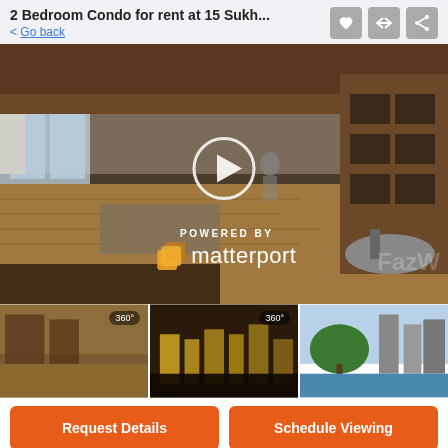2 Bedroom Condo for rent at 15 Sukh...
< Go back
[Figure (photo): 360 virtual tour main image of a luxury condo interior with Matterport branding and play button overlay]
[Figure (photo): Thumbnail 360 view of living/dining area]
[Figure (photo): Thumbnail 360 view of fitness/gym area]
[Figure (photo): Thumbnail photo of pool and city view]
Request Details
Schedule Viewing